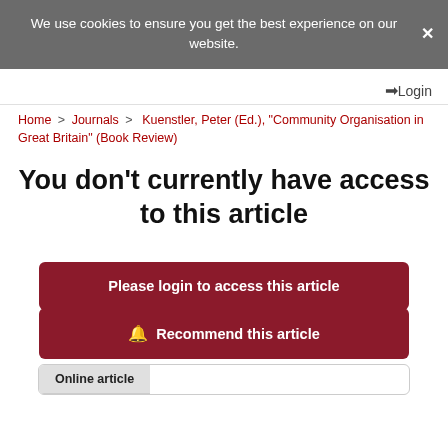We use cookies to ensure you get the best experience on our website.
Login
Home > Journals > Kuenstler, Peter (Ed.), "Community Organisation in Great Britain" (Book Review)
You don’t currently have access to this article
Please login to access this article
Recommend this article
Online article